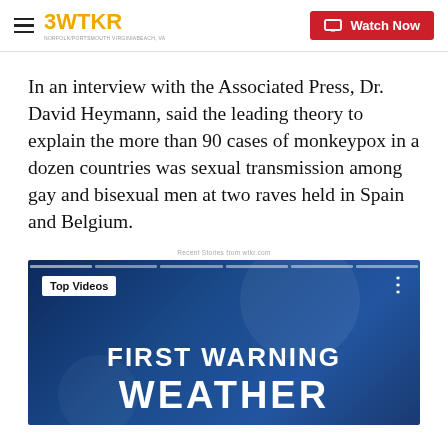3WTKR | Watch Now
In an interview with the Associated Press, Dr. David Heymann, said the leading theory to explain the more than 90 cases of monkeypox in a dozen countries was sexual transmission among gay and bisexual men at two raves held in Spain and Belgium.
Recent Stories from wtkr.com
[Figure (screenshot): Video player thumbnail showing 'Top Videos' badge and 'FIRST WARNING WEATHER' title text on a dark blue background]